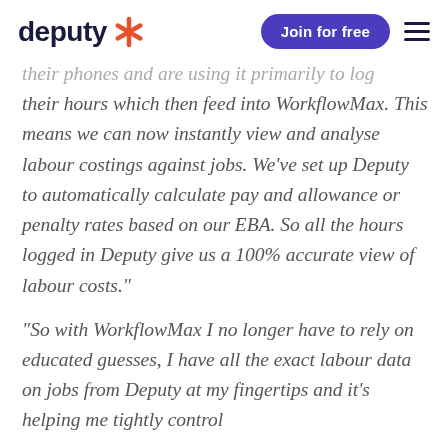deputy [logo] | Join for free | [menu]
their phones and are using it primarily to log their hours which then feed into WorkflowMax. This means we can now instantly view and analyse labour costings against jobs. We've set up Deputy to automatically calculate pay and allowance or penalty rates based on our EBA. So all the hours logged in Deputy give us a 100% accurate view of labour costs."
"So with WorkflowMax I no longer have to rely on educated guesses, I have all the exact labour data on jobs from Deputy at my fingertips and it's helping me tightly control